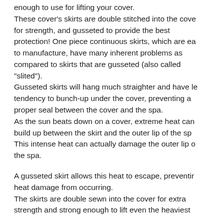enough to use for lifting your cover. These cover's skirts are double stitched into the cover for strength, and gusseted to provide the best protection! One piece continuous skirts, which are easy to manufacture, have many inherent problems as compared to skirts that are gusseted (also called "slited"). Gusseted skirts will hang much straighter and have less tendency to bunch-up under the cover, preventing a proper seal between the cover and the spa. As the sun beats down on a cover, extreme heat can build up between the skirt and the outer lip of the spa. This intense heat can actually damage the outer lip of the spa. A gusseted skirt allows this heat to escape, preventing heat damage from occurring. The skirts are double sewn into the cover for extra strength and strong enough to lift even the heaviest